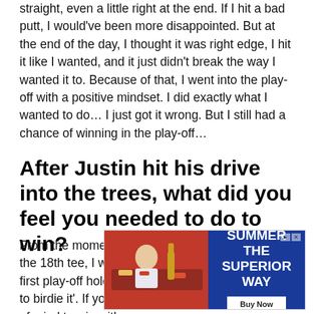straight, even a little right at the end. If I hit a bad putt, I would've been more disappointed. But at the end of the day, I thought it was right edge, I hit it like I wanted, and it just didn't break the way I wanted it to. Because of that, I went into the play- off with a positive mindset. I did exactly what I wanted to do… I just got it wrong. But I still had a chance of winning in the play-off…
After Justin hit his drive into the trees, what did you feel you needed to do to win?
From the moment I got in the cart to head back to the 18th tee, I was thinking 'I need to birdie this first play-off hole. No matter what he does, I need to birdie it'. If you step up to the tee with the frame of mind to win with a par, your
[Figure (other): Advertisement banner showing 'SUMMER THE SUPERIOR WAY' with a Buy Now button and a photo of a person at a table with drinks on a red background.]